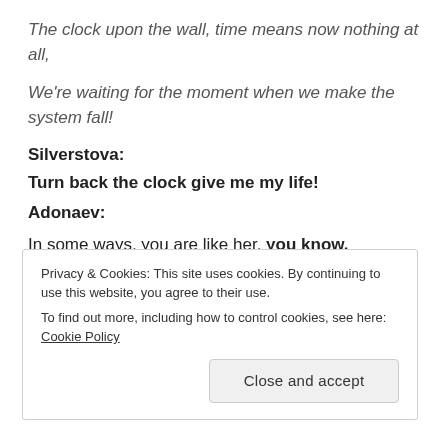The clock upon the wall, time means now nothing at all,
We're waiting for the moment when we make the system fall!
Silverstova:
Turn back the clock give me my life!
Adonaev:
In some ways, you are like her, you know.
Privacy & Cookies: This site uses cookies. By continuing to use this website, you agree to their use.
To find out more, including how to control cookies, see here: Cookie Policy